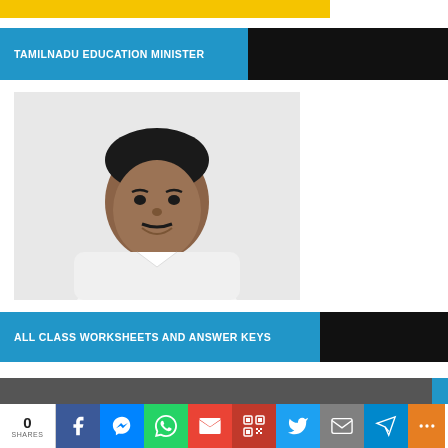[Figure (other): Yellow decorative bar at the top of the page]
TAMILNADU EDUCATION MINISTER
[Figure (photo): Portrait photo of Tamilnadu Education Minister, a man in white clothing with hands pressed together in a namaste gesture, smiling]
ALL CLASS WORKSHEETS AND ANSWER KEYS
0 SHARES — Social share bar with Facebook, Messenger, WhatsApp, Gmail, QR, Twitter, Mail, Telegram, More buttons